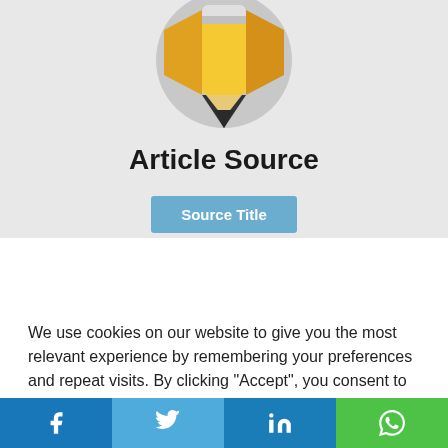[Figure (illustration): Pencil icon in a gray circle, yellow pencil with gray eraser and dark tip, partially cropped at top]
Article Source
Source Title
We use cookies on our website to give you the most relevant experience by remembering your preferences and repeat visits. By clicking “Accept”, you consent to the use of all cookies.
Cookie settings  ACCEPT
[Figure (infographic): Social share bar with Facebook, Twitter, LinkedIn, and WhatsApp icons]